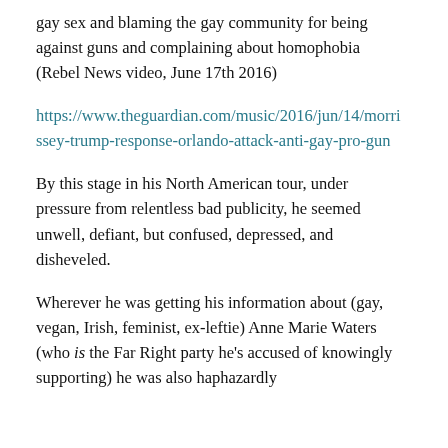gay sex and blaming the gay community for being against guns and complaining about homophobia (Rebel News video, June 17th 2016)
https://www.theguardian.com/music/2016/jun/14/morrissey-trump-response-orlando-attack-anti-gay-pro-gun
By this stage in his North American tour, under pressure from relentless bad publicity, he seemed unwell, defiant, but confused, depressed, and disheveled.
Wherever he was getting his information about (gay, vegan, Irish, feminist, ex-leftie) Anne Marie Waters (who is the Far Right party he's accused of knowingly supporting) he was also haphazardly